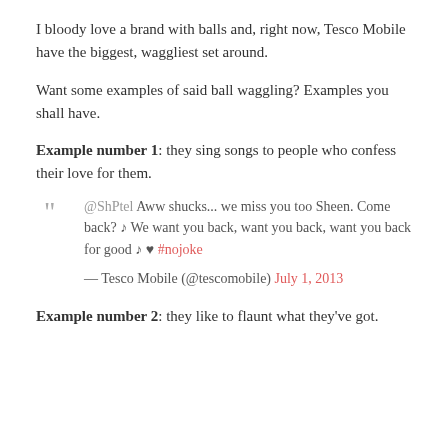I bloody love a brand with balls and, right now, Tesco Mobile have the biggest, waggliest set around.
Want some examples of said ball waggling? Examples you shall have.
Example number 1: they sing songs to people who confess their love for them.
@ShPtel Aww shucks... we miss you too Sheen. Come back? ♪ We want you back, want you back, want you back for good ♪ ♥ #nojoke — Tesco Mobile (@tescomobile) July 1, 2013
Example number 2: they like to flaunt what they've got.